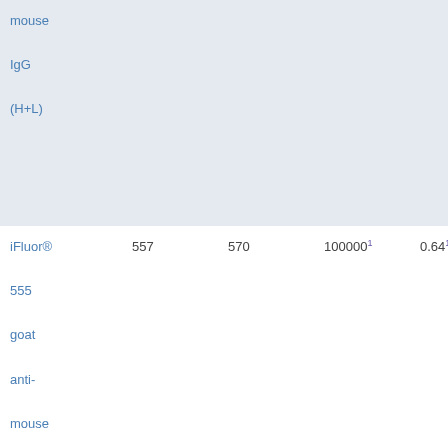| mouse
IgG
(H+L) |  |  |  |  |
| iFluor® 555
goat anti-mouse IgG
(H+L) | 557 | 570 | 100000¹ | 0.64¹ |
| iFluor® 594
goat anti-mouse
... | 588 | 604 | 180000¹ | 0.53¹ |